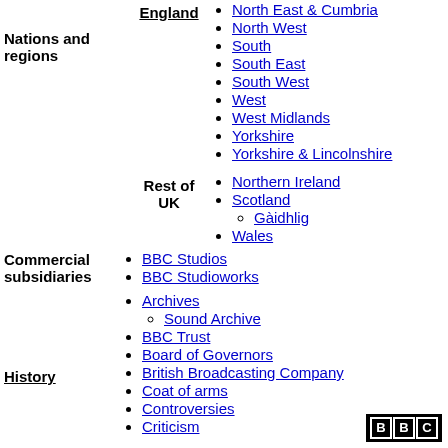Nations and regions
England
North East & Cumbria
North West
South
South East
South West
West
West Midlands
Yorkshire
Yorkshire & Lincolnshire
Rest of UK
Northern Ireland
Scotland
Gàidhlig
Wales
Commercial subsidiaries
BBC Studios
BBC Studioworks
Archives
Sound Archive
BBC Trust
Board of Governors
British Broadcasting Company
Coat of arms
Controversies
History
Criticism